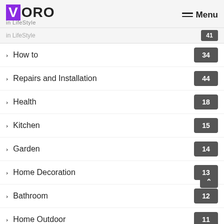VORO - In LifeStyle | Menu
How to — 34
Repairs and Installation — 44
Health — 18
Kitchen — 15
Garden — 14
Home Decoration — 13
Bathroom — 12
Home Outdoor — 11
Cleaning — 8
Interior Design — 6
Home Security — 6
Furniture — 6